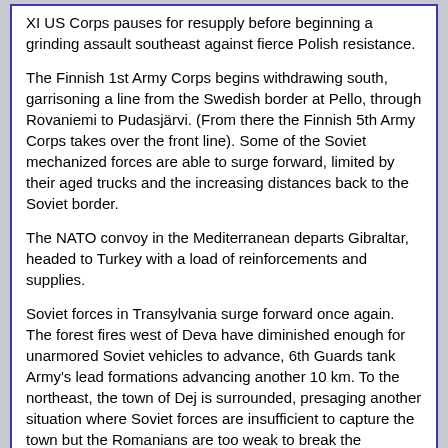XI US Corps pauses for resupply before beginning a grinding assault southeast against fierce Polish resistance.
The Finnish 1st Army Corps begins withdrawing south, garrisoning a line from the Swedish border at Pello, through Rovaniemi to Pudasjärvi. (From there the Finnish 5th Army Corps takes over the front line). Some of the Soviet mechanized forces are able to surge forward, limited by their aged trucks and the increasing distances back to the Soviet border.
The NATO convoy in the Mediterranean departs Gibraltar, headed to Turkey with a load of reinforcements and supplies.
Soviet forces in Transylvania surge forward once again. The forest fires west of Deva have diminished enough for unarmored Soviet vehicles to advance, 6th Guards tank Army's lead formations advancing another 10 km. To the northeast, the town of Dej is surrounded, presaging another situation where Soviet forces are insufficient to capture the town but the Romanians are too weak to break the blockade around the city.
Greek forces in Thrace are slowed for a second day as heavy rain turn the area's dusty roads into muddy quagmires that slow supply convoys. The infantry at the front rejoice in the misery and the chance to rest.
In Iran, the 9th Infantry Division (Motorized) screens XVIII